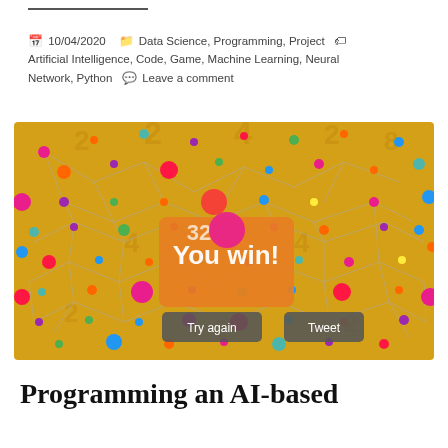📅 10/04/2020  🗂 Data Science, Programming, Project  🏷 Artificial Intelligence, Code, Game, Machine Learning, Neural Network, Python  💬 Leave a comment
[Figure (screenshot): A screenshot of a 2048-like neural network game showing a golden board with colorful connected nodes (a neural network visualization overlay) and a 'You win!' popup in the center, with 'Try again' and 'Tweet' buttons. Numbers like 2, 4, 8, 32 are visible on the board.]
Programming an AI-based